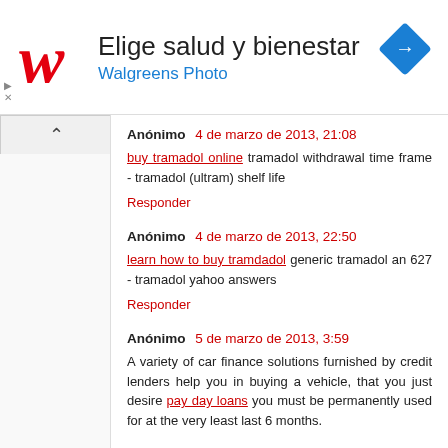[Figure (advertisement): Walgreens ad banner with logo, text 'Elige salud y bienestar / Walgreens Photo', and a blue diamond arrow icon]
Anónimo 4 de marzo de 2013, 21:08
buy tramadol online tramadol withdrawal time frame - tramadol (ultram) shelf life
Responder
Anónimo 4 de marzo de 2013, 22:50
learn how to buy tramdadol generic tramadol an 627 - tramadol yahoo answers
Responder
Anónimo 5 de marzo de 2013, 3:59
A variety of car finance solutions furnished by credit lenders help you in buying a vehicle, that you just desire pay day loans you must be permanently used for at the very least last 6 months.